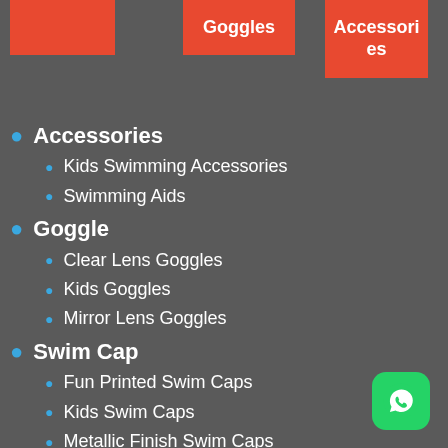[Figure (other): Top navigation banner boxes in red/orange showing category links: blank (leftmost), Goggles, Accessories]
Accessories
Kids Swimming Accessories
Swimming Aids
Goggle
Clear Lens Goggles
Kids Goggles
Mirror Lens Goggles
Swim Cap
Fun Printed Swim Caps
Kids Swim Caps
Metallic Finish Swim Caps
Printable Swimming Caps
[Figure (other): WhatsApp contact button (green rounded square icon with phone/chat symbol) in bottom right corner]